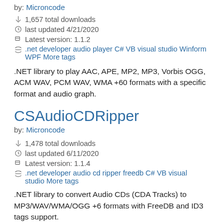by: Microncode
1,657 total downloads
last updated 4/21/2020
Latest version: 1.1.2
.net developer audio player C# VB visual studio Winform WPF More tags
.NET library to play AAC, APE, MP2, MP3, Vorbis OGG, ACM WAV, PCM WAV, WMA +60 formats with a specific format and audio graph.
CSAudioCDRipper
by: Microncode
1,478 total downloads
last updated 6/11/2020
Latest version: 1.1.4
.net developer audio cd ripper freedb C# VB visual studio More tags
.NET library to convert Audio CDs (CDA Tracks) to MP3/WAV/WMA/OGG +6 formats with FreeDB and ID3 tags support.